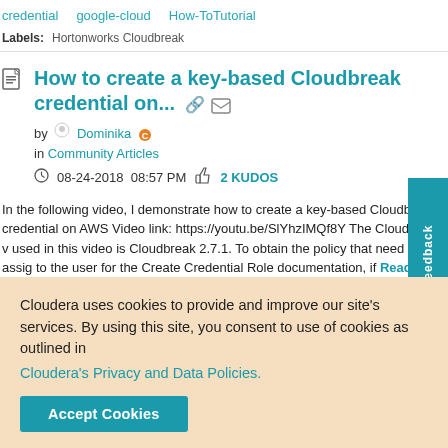credential   google-cloud   How-ToTutorial
Labels:   Hortonworks Cloudbreak
How to create a key-based Cloudbreak credential on...
by Dominika
in Community Articles
08-24-2018  08:57 PM  2 KUDOS
In the following video, I demonstrate how to create a key-based Cloudbreak credential on AWS Video link: https://youtu.be/SlYhzIMQf8Y The Cloudbreak v used in this video is Cloudbreak 2.7.1. To obtain the policy that need to be assig to the user for the Create Credential Role documentation, if...  Read M
Cloudera uses cookies to provide and improve our site's services. By using this site, you consent to use of cookies as outlined in Cloudera's Privacy and Data Policies.
Accept Cookies